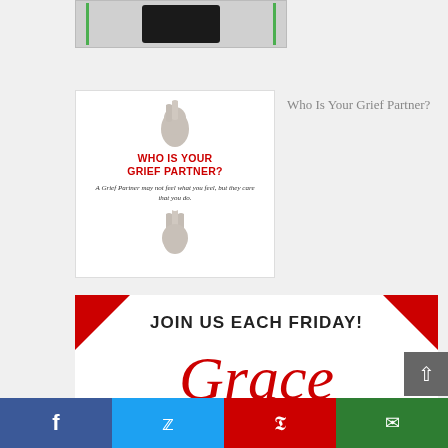[Figure (photo): Partial top image card with dark photo and green lines on sides]
[Figure (infographic): Who Is Your Grief Partner infographic card showing two hands reaching toward each other with red bold text 'WHO IS YOUR GRIEF PARTNER?' and italic text 'A Grief Partner may not feel what you feel, but they care that you do.']
Who Is Your Grief Partner?
[Figure (infographic): Join Us Each Friday banner with red corner accents and 'Grace' in large red cursive script below]
Facebook share | Twitter share | Pinterest share | Email share